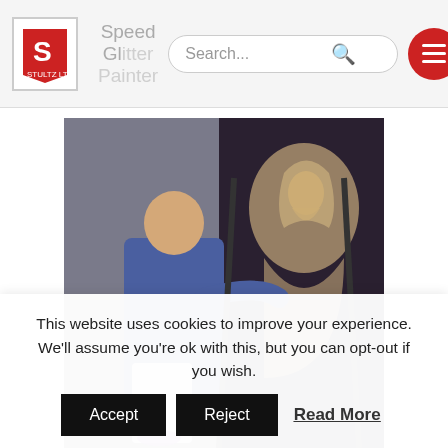Speed Glitter Painter
[Figure (photo): A man in a blue jacket painting a large portrait of a woman with glitter on a dark canvas, on an easel]
Speed Portrait glitter painter
For more information about this glitter painter performer please contact
This website uses cookies to improve your experience. We'll assume you're ok with this, but you can opt-out if you wish.